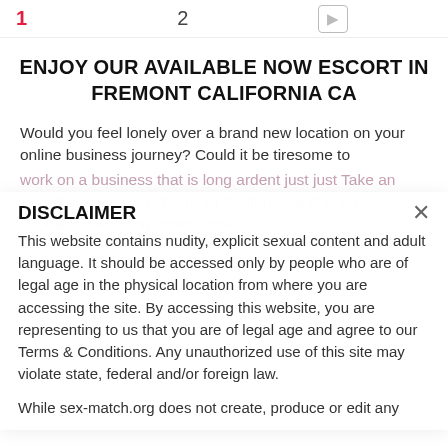1  2  ▷
ENJOY OUR AVAILABLE NOW ESCORT IN FREMONT CALIFORNIA CA
Would you feel lonely over a brand new location on your online business journey? Could it be tiresome to
DISCLAIMER
This website contains nudity, explicit sexual content and adult language. It should be accessed only by people who are of legal age in the physical location from where you are accessing the site. By accessing this website, you are representing to us that you are of legal age and agree to our Terms & Conditions. Any unauthorized use of this site may violate state, federal and/or foreign law.

While sex-match.org does not create, produce or edit any